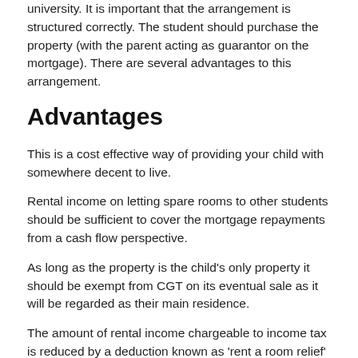university. It is important that the arrangement is structured correctly. The student should purchase the property (with the parent acting as guarantor on the mortgage). There are several advantages to this arrangement.
Advantages
This is a cost effective way of providing your child with somewhere decent to live.
Rental income on letting spare rooms to other students should be sufficient to cover the mortgage repayments from a cash flow perspective.
As long as the property is the child's only property it should be exempt from CGT on its eventual sale as it will be regarded as their main residence.
The amount of rental income chargeable to income tax is reduced by a deduction known as 'rent a room relief' (£7,500 per annum from 6 April 2016). In this situation no expenses are tax deductible. Alternatively expenses can be deducted from income and no benefit is...